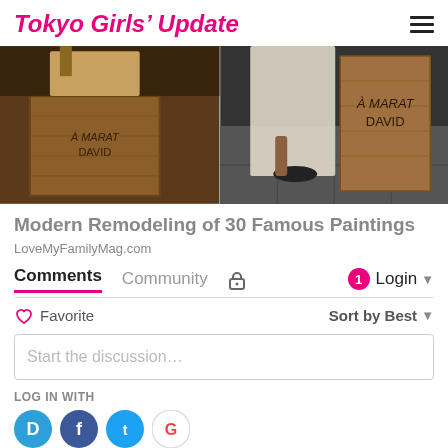Tokyo Girls' Update
[Figure (photo): Two side-by-side photos of a wooden box prop labeled 'À MARAT DAVID' — one close-up with hands and golden prop, one wider shot with a person in white dress on dark tile floor]
Modern Remodeling of 30 Famous Paintings
LoveMyFamilyMag.com
Comments   Community   Login
♡ Favorite   Sort by Best
Start the discussion…
LOG IN WITH